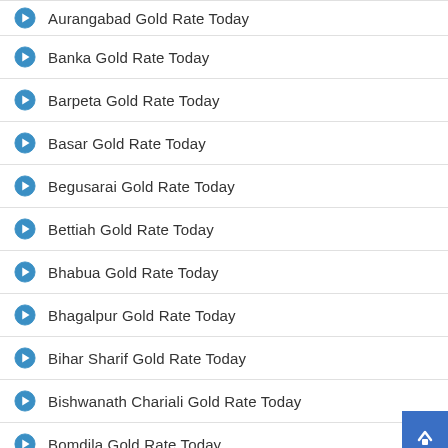Aurangabad Gold Rate Today
Banka Gold Rate Today
Barpeta Gold Rate Today
Basar Gold Rate Today
Begusarai Gold Rate Today
Bettiah Gold Rate Today
Bhabua Gold Rate Today
Bhagalpur Gold Rate Today
Bihar Sharif Gold Rate Today
Bishwanath Chariali Gold Rate Today
Bomdila Gold Rate Today
Bongaigaon Gold Rate Today